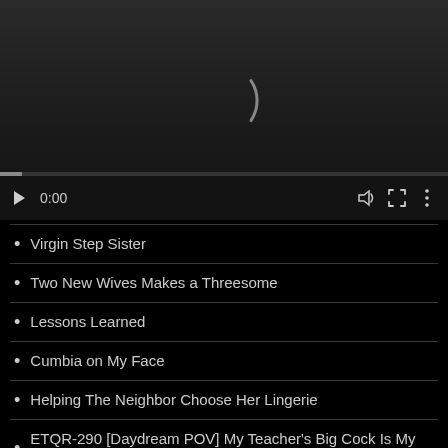[Figure (screenshot): Video player with dark background showing a loading spinner arc, playback controls including play button showing 0:00 timestamp, volume, fullscreen, and more options icons, with a thin progress bar at bottom.]
Virgin Step Sister
Two New Wives Makes a Threesome
Lessons Learned
Cumbia on My Face
Helping The Neighbor Choose Her Lingerie
ETQR-290 [Daydream POV] My Teacher's Big Cock Is My Favorite In All The World - Nana Hayami